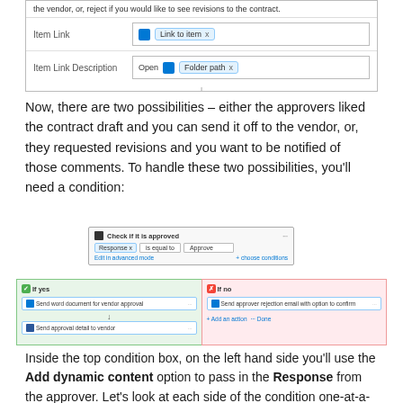[Figure (screenshot): Screenshot showing form fields: Item Link with 'Link to item x' tag, and Item Link Description with 'Open' button and 'Folder path x' tag.]
Now, there are two possibilities – either the approvers liked the contract draft and you can send it off to the vendor, or, they requested revisions and you want to be notified of those comments. To handle these two possibilities, you'll need a condition:
[Figure (screenshot): Screenshot of a condition block titled 'Check if it is approved' with Response tag, 'is equal to' dropdown, and Approve input. Below shows Yes (green) branch with 'Send word document for vendor approval' and 'Send approval detail to vendor' actions, and No (red) branch with 'Send approver rejection email with option to confirm' action.]
Inside the top condition box, on the left hand side you'll use the Add dynamic content option to pass in the Response from the approver. Let's look at each side of the condition one-at-a-time.